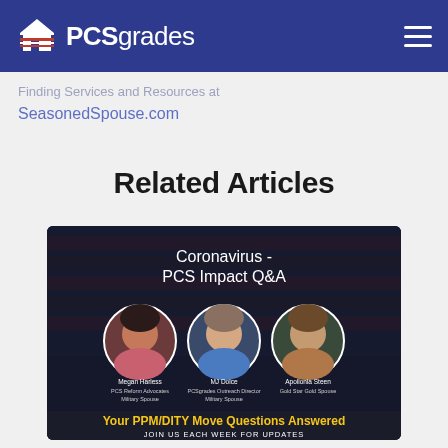PCSgrades
SeasonedSpouse.com
Related Articles
[Figure (infographic): Coronavirus - PCS Impact Q&A panel graphic with three circular headshots of Megan Harless (PCS Reform Advocates, Military Spouse), MJ Dolce (PCS Grades Outreach Director, Military Spouse), and Apollonia Steen (Gold Star Gold Spouse). Bottom text reads: Your PPM/DITY Move Questions Answered. JOIN US EACH WEEK FOR UPDATES.]